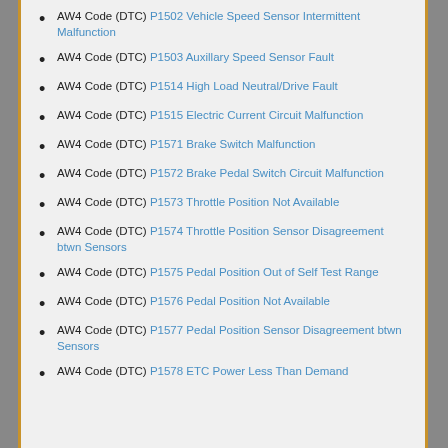AW4 Code (DTC) P1502 Vehicle Speed Sensor Intermittent Malfunction
AW4 Code (DTC) P1503 Auxillary Speed Sensor Fault
AW4 Code (DTC) P1514 High Load Neutral/Drive Fault
AW4 Code (DTC) P1515 Electric Current Circuit Malfunction
AW4 Code (DTC) P1571 Brake Switch Malfunction
AW4 Code (DTC) P1572 Brake Pedal Switch Circuit Malfunction
AW4 Code (DTC) P1573 Throttle Position Not Available
AW4 Code (DTC) P1574 Throttle Position Sensor Disagreement btwn Sensors
AW4 Code (DTC) P1575 Pedal Position Out of Self Test Range
AW4 Code (DTC) P1576 Pedal Position Not Available
AW4 Code (DTC) P1577 Pedal Position Sensor Disagreement btwn Sensors
AW4 Code (DTC) P1578 ETC Power Less Than Demand